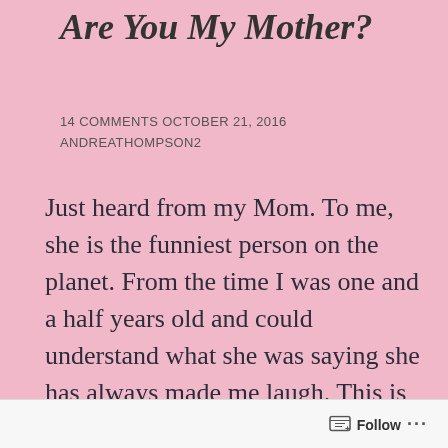Are You My Mother?
14 COMMENTS OCTOBER 21, 2016
ANDREATHOMPSON2
Just heard from my Mom. To me, she is the funniest person on the planet.  From the time I was one and a half years old and could understand what she was saying she has always made me laugh.  This is classic Mom:
Follow ...